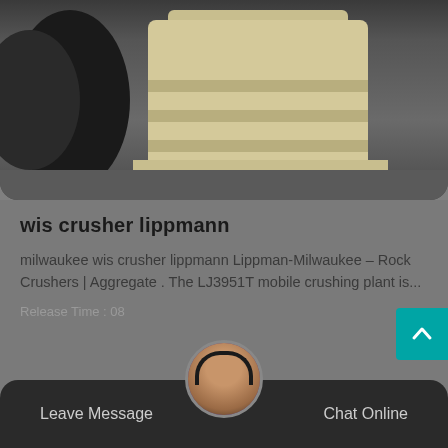[Figure (photo): Industrial jaw crusher machine, cream/beige colored, photographed in a warehouse or factory setting with dark background and large cable drums/spools visible on the left side.]
wis crusher lippmann
milwaukee wis crusher lippmann Lippman-Milwaukee – Rock Crushers | Aggregate . The LJ3951T mobile crushing plant is...
Release Time : 08